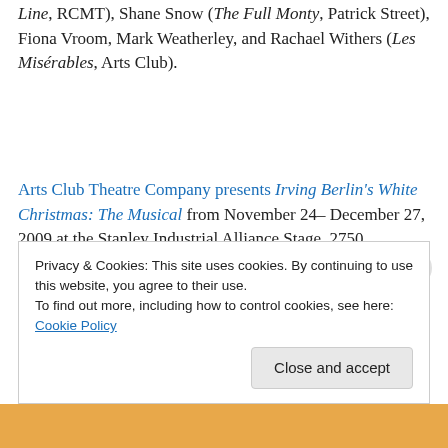Line, RCMT), Shane Snow (The Full Monty, Patrick Street), Fiona Vroom, Mark Weatherley, and Rachael Withers (Les Misérables, Arts Club).
Arts Club Theatre Company presents Irving Berlin's White Christmas: The Musical from November 24– December 27, 2009 at the Stanley Industrial Alliance Stage, 2750 Granville St.  Tickets are available online or by phone at
Privacy & Cookies: This site uses cookies. By continuing to use this website, you agree to their use.
To find out more, including how to control cookies, see here: Cookie Policy